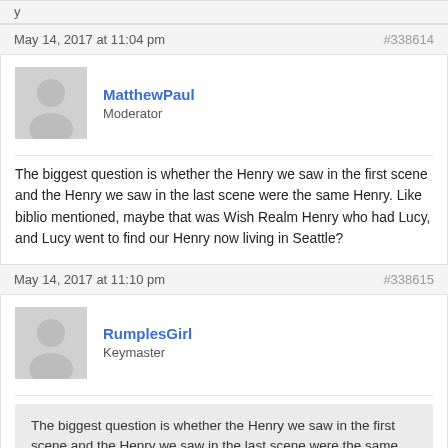y
May 14, 2017 at 11:04 pm   #338614
MatthewPaul
Moderator
The biggest question is whether the Henry we saw in the first scene and the Henry we saw in the last scene were the same Henry. Like biblio mentioned, maybe that was Wish Realm Henry who had Lucy, and Lucy went to find our Henry now living in Seattle?
May 14, 2017 at 11:10 pm   #338615
RumplesGirl
Keymaster
The biggest question is whether the Henry we saw in the first scene and the Henry we saw in the last scene were the same Henry. Like biblio mentioned, maybe that was Wish Realm Henry who had Lucy, and Lucy went to find our Henry now living in Seattle?